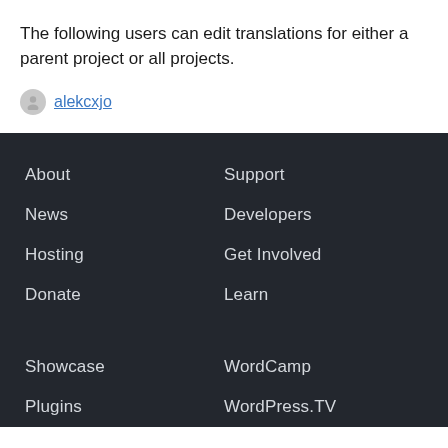The following users can edit translations for either a parent project or all projects.
alekcxjo
About
Support
News
Developers
Hosting
Get Involved
Donate
Learn
Showcase
WordCamp
Plugins
WordPress.TV